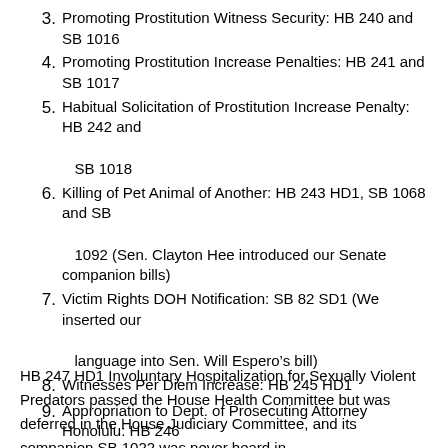3. Promoting Prostitution Witness Security: HB 240 and SB 1016
4. Promoting Prostitution Increase Penalties: HB 241 and SB 1017
5. Habitual Solicitation of Prostitution Increase Penalty: HB 242 and SB 1018
6. Killing of Pet Animal of Another: HB 243 HD1, SB 1068 and SB 1092 (Sen. Clayton Hee introduced our Senate companion bills)
7. Victim Rights DOH Notification: SB 82 SD1 (We inserted our language into Sen. Will Espero’s bill)
8. Witnesses Per Diem Increase: HB 245 HD1
9. Appropriation to Dept. of Prosecuting Attorney Honolulu: HB 246
10. Mandatory Min. for Crimes Against Elders: SB 1023
11. No probation for Theft Over $100,000: HB 249 and SB 1024
HB 247 HD1 Involuntary Hospitalization for Sexually Violent Predators passed the House Health Committee but was deferred in the House Judiciary Committee, and its companion SB 1022 was never heard in